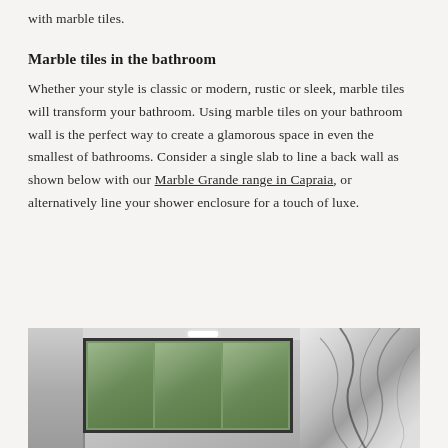with marble tiles.
Marble tiles in the bathroom
Whether your style is classic or modern, rustic or sleek, marble tiles will transform your bathroom. Using marble tiles on your bathroom wall is the perfect way to create a glamorous space in even the smallest of bathrooms. Consider a single slab to line a back wall as shown below with our Marble Grande range in Capraia, or alternatively line your shower enclosure for a touch of luxe.
[Figure (photo): Bathroom interior showing marble tile wall on the right side, large black-framed windows in the center with greenery visible outside, and a white ceiling with recessed lighting.]